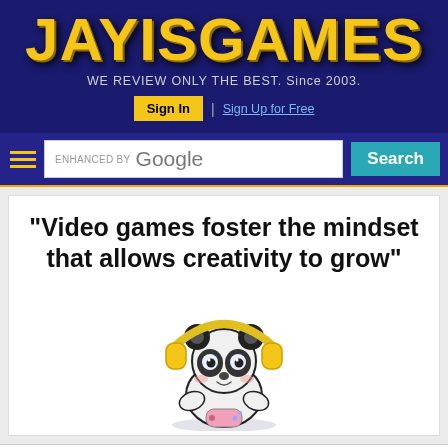JAYISGAMES — WE REVIEW ONLY THE BEST. Since 2003.
Sign In | Sign Up for Free
ENHANCED BY Google Search
[Figure (screenshot): White card with bold quote text: '"Video games foster the mindset that allows creativity to grow"' and cartoon panda wearing yellow headphones holding a pink game controller]
CoinFlip: So Flippin' Easy — CoinFlip Bitcoin ATM